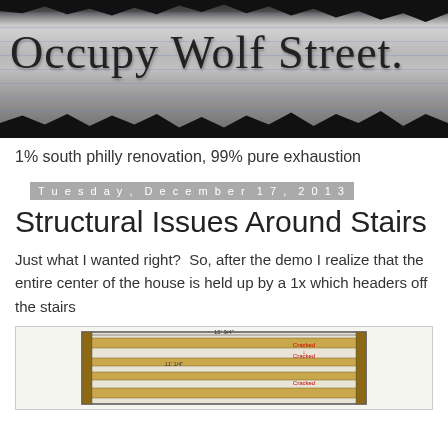[Figure (photo): Blog header image showing handwritten 'Occupy Wolf Street' text on lined notebook paper with dark torn edges, black and white photo style]
1% south philly renovation, 99% pure exhaustion
Tuesday, December 17, 2013
Structural Issues Around Stairs
Just what I wanted right?  So, after the demo I realize that the entire center of the house is held up by a 1x which headers off the stairs
[Figure (engineering-diagram): Structural diagram showing horizontal beams/headers with labels including 'Cracked' annotations, appears to be a cross-section of stair framing with dimensions noted]